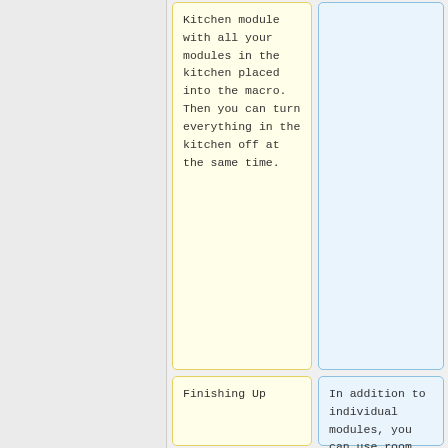Kitchen module with all your modules in the kitchen placed into the macro. Then you can turn everything in the kitchen off at the same time.
Finishing Up
In addition to individual modules, you can use room modules and House Code